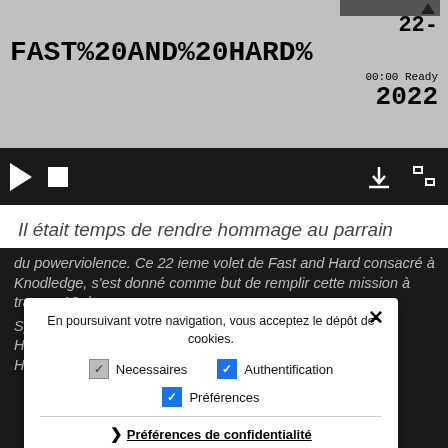[Figure (screenshot): Video player showing title '22- FAST%20AND%20HARD%20 2022' with playback controls (play, stop, download, fullscreen) on a dark control bar, gray video frame area, timestamp 00:00 Ready]
Il était temps de rendre hommage au parrain du powerviolence. Ce 22 ieme volet de Fast and Hard consacré à Knodledge, s'est donné comme but de remplir cette mission à travers 10 de ses groupes.
Spazz – Mad at the World – Rupture – Uniform – Bone – Hardboiled – Finn's mom yodeling in the bathtub – Doomriders – Huckleberry Finn –
En poursuivant votre navigation, vous acceptez le dépôt de cookies.
Necessaires  Authentification  Préférences
Préférences de confidentialité
J'approuve